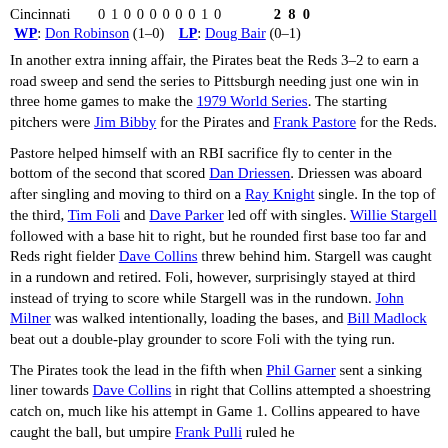Cincinnati    0 1 0 0 0 0 0 0 1 0   2  8  0
WP: Don Robinson (1–0)   LP: Doug Bair (0–1)
In another extra inning affair, the Pirates beat the Reds 3–2 to earn a road sweep and send the series to Pittsburgh needing just one win in three home games to make the 1979 World Series. The starting pitchers were Jim Bibby for the Pirates and Frank Pastore for the Reds.
Pastore helped himself with an RBI sacrifice fly to center in the bottom of the second that scored Dan Driessen. Driessen was aboard after singling and moving to third on a Ray Knight single. In the top of the third, Tim Foli and Dave Parker led off with singles. Willie Stargell followed with a base hit to right, but he rounded first base too far and Reds right fielder Dave Collins threw behind him. Stargell was caught in a rundown and retired. Foli, however, surprisingly stayed at third instead of trying to score while Stargell was in the rundown. John Milner was walked intentionally, loading the bases, and Bill Madlock beat out a double-play grounder to score Foli with the tying run.
The Pirates took the lead in the fifth when Phil Garner sent a sinking liner towards Dave Collins in right that Collins attempted a shoestring catch on, much like his attempt in Game 1. Collins appeared to have caught the ball, but umpire Frank Pulli ruled he